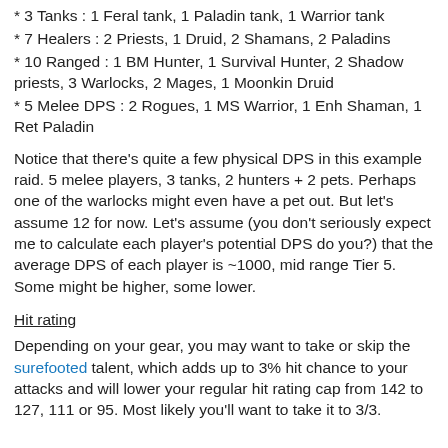* 3 Tanks : 1 Feral tank, 1 Paladin tank, 1 Warrior tank
* 7 Healers : 2 Priests, 1 Druid, 2 Shamans, 2 Paladins
* 10 Ranged : 1 BM Hunter, 1 Survival Hunter, 2 Shadow priests, 3 Warlocks, 2 Mages, 1 Moonkin Druid
* 5 Melee DPS : 2 Rogues, 1 MS Warrior, 1 Enh Shaman, 1 Ret Paladin
Notice that there's quite a few physical DPS in this example raid. 5 melee players, 3 tanks, 2 hunters + 2 pets. Perhaps one of the warlocks might even have a pet out. But let's assume 12 for now. Let's assume (you don't seriously expect me to calculate each player's potential DPS do you?) that the average DPS of each player is ~1000, mid range Tier 5. Some might be higher, some lower.
Hit rating
Depending on your gear, you may want to take or skip the surefooted talent, which adds up to 3% hit chance to your attacks and will lower your regular hit rating cap from 142 to 127, 111 or 95. Most likely you'll want to take it to 3/3.